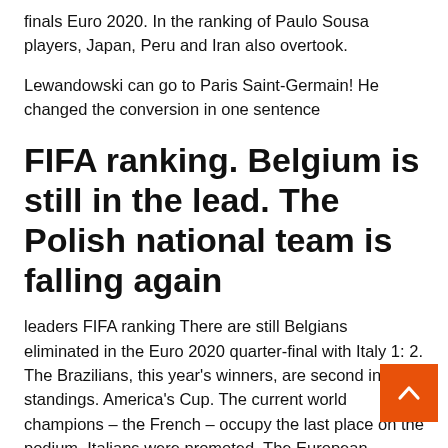finals Euro 2020. In the ranking of Paulo Sousa players, Japan, Peru and Iran also overtook.
Lewandowski can go to Paris Saint-Germain! He changed the conversion in one sentence
FIFA ranking. Belgium is still in the lead. The Polish national team is falling again
leaders FIFA ranking There are still Belgians eliminated in the Euro 2020 quarter-final with Italy 1: 2. The Brazilians, this year's winners, are second in the standings. America's Cup. The current world champions – the French – occupy the last place on the podium. Italians were promoted. The European Champions are currently ranked fifth.